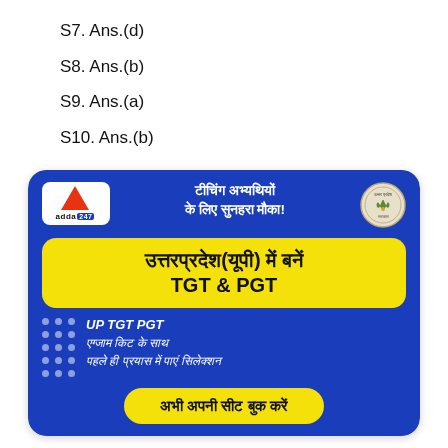S7. Ans.(d)
S8. Ans.(b)
S9. Ans.(a)
S10. Ans.(b)
[Figure (infographic): Advertisement banner for Adda247 UP TGT & PGT exam kit. Blue background with yellow highlighted text: उत्तरप्रदेश(यूपी) में बनें TGT & PGT. Subtitle text in white italic: UP TGT PGT एग्जाम किट के साथ, पहले ही प्रयास में पाएं सिलेक्शन. Yellow button: अभी अपनी सीट बुक करें. Adda247 logo top left, UP government seal top right.]